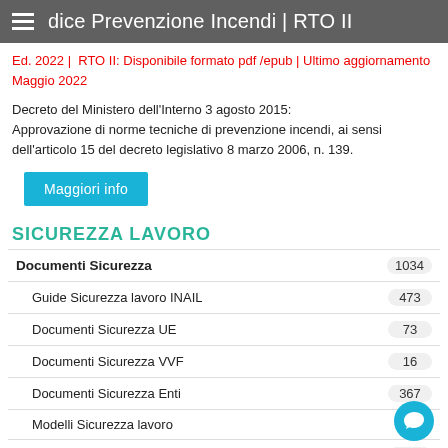Codice Prevenzione Incendi | RTO II
Ed. 2022 | RTO II: Disponibile formato pdf /epub | Ultimo aggiornamento Maggio 2022
Decreto del Ministero dell'Interno 3 agosto 2015: Approvazione di norme tecniche di prevenzione incendi, ai sensi dell'articolo 15 del decreto legislativo 8 marzo 2006, n. 139.
Maggiori info
SICUREZZA LAVORO
Documenti Sicurezza 1034
Guide Sicurezza lavoro INAIL 473
Documenti Sicurezza UE 73
Documenti Sicurezza VVF 16
Documenti Sicurezza Enti 367
Modelli Sicurezza lavoro
Documenti Sicurezza ASL 40